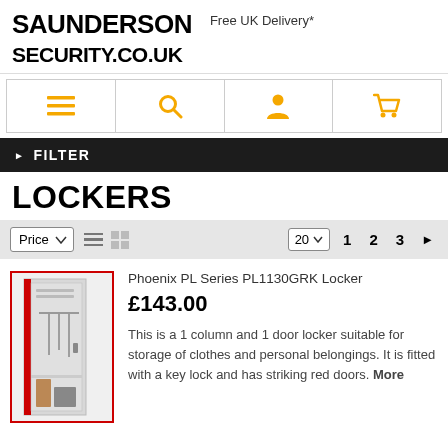[Figure (logo): Saunderson Security logo with bold black text]
Free UK Delivery*
[Figure (infographic): Navigation bar with menu, search, account, and cart icons in gold/yellow]
FILTER
LOCKERS
Price sort selector with list/grid view toggle and pagination: 20 per page, pages 1 2 3
[Figure (photo): Phoenix PL Series PL1130GRK Locker product image - tall grey locker with red door]
Phoenix PL Series PL1130GRK Locker
£143.00
This is a 1 column and 1 door locker suitable for storage of clothes and personal belongings. It is fitted with a key lock and has striking red doors. More